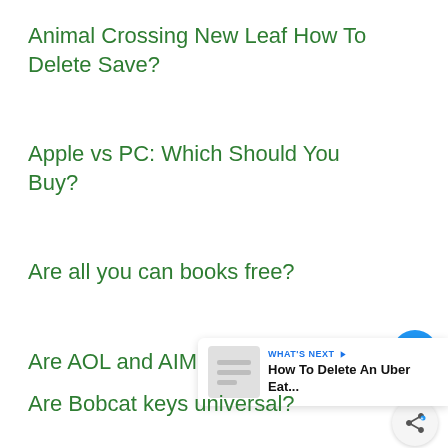Animal Crossing New Leaf How To Delete Save?
Apple vs PC: Which Should You Buy?
Are all you can books free?
Are AOL and AIM email the same?
Are Bobcat keys universal?